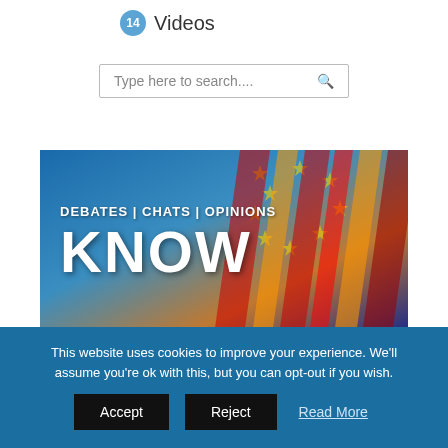14 Videos
Type here to search...
[Figure (screenshot): Video thumbnail showing EU flags with text 'DEBATES | CHATS | OPINIONS' and large bold 'KNOW' on a blue/colorful background]
This website uses cookies to improve your experience. We'll assume you're ok with this, but you can opt-out if you wish.
Accept  Reject  Read More